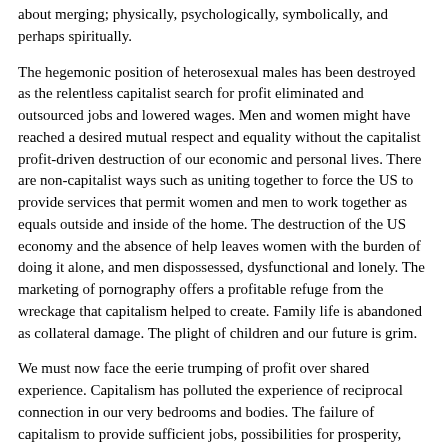about merging; physically, psychologically, symbolically, and perhaps spiritually.
The hegemonic position of heterosexual males has been destroyed as the relentless capitalist search for profit eliminated and outsourced jobs and lowered wages. Men and women might have reached a desired mutual respect and equality without the capitalist profit-driven destruction of our economic and personal lives. There are non-capitalist ways such as uniting together to force the US to provide services that permit women and men to work together as equals outside and inside of the home. The destruction of the US economy and the absence of help leaves women with the burden of doing it alone, and men dispossessed, dysfunctional and lonely. The marketing of pornography offers a profitable refuge from the wreckage that capitalism helped to create. Family life is abandoned as collateral damage. The plight of children and our future is grim.
We must now face the eerie trumping of profit over shared experience. Capitalism has polluted the experience of reciprocal connection in our very bedrooms and bodies. The failure of capitalism to provide sufficient jobs, possibilities for prosperity, decent wages and social services, has led masses to grab at lonely pseudo-solutions that ultimately worsen their quality of life. Pornography is one of them.
Conclusion